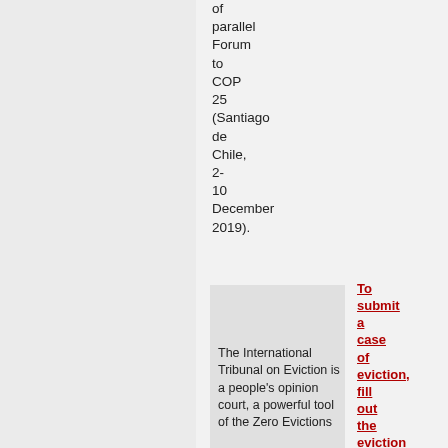of parallel Forum to COP 25 (Santiago de Chile, 2-10 December 2019).
The International Tribunal on Eviction is a people's opinion court, a powerful tool of the Zero Evictions
To submit a case of eviction, fill out the eviction